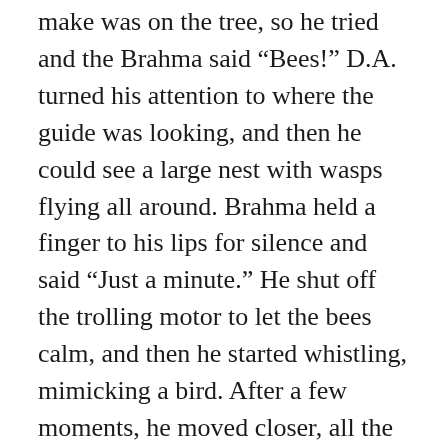make was on the tree, so he tried and the Brahma said “Bees!” D.A. turned his attention to where the guide was looking, and then he could see a large nest with wasps flying all around. Brahma held a finger to his lips for silence and said “Just a minute.” He shut off the trolling motor to let the bees calm, and then he started whistling, mimicking a bird. After a few moments, he moved closer, all the time whistling softly as he retrieved the lure with his face about three feet from the nest. He continued to whistle as he backed out a safe distance and D.A. started clapping. He had never seen such a performance!
A couple hours later it started to rain much harder and D.A. and Brahma returned to camp.